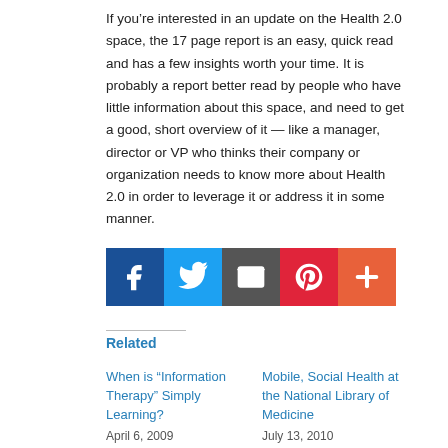If you’re interested in an update on the Health 2.0 space, the 17 page report is an easy, quick read and has a few insights worth your time. It is probably a report better read by people who have little information about this space, and need to get a good, short overview of it — like a manager, director or VP who thinks their company or organization needs to know more about Health 2.0 in order to leverage it or address it in some manner.
[Figure (infographic): Row of five social sharing icon buttons: Facebook (dark blue), Twitter (light blue), Email/envelope (dark grey), Pinterest (red), and a plus/share button (orange-red).]
Related
When is “Information Therapy” Simply Learning?
April 6, 2009
Mobile, Social Health at the National Library of Medicine
July 13, 2010